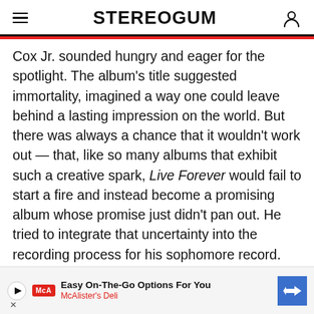STEREOGUM
Cox Jr. sounded hungry and eager for the spotlight. The album’s title suggested immortality, imagined a way one could leave behind a lasting impression on the world. But there was always a chance that it wouldn’t work out — that, like so many albums that exhibit such a creative spark, Live Forever would fail to start a fire and instead become a promising album whose promise just didn’t pan out. He tried to integrate that uncertainty into the recording process for his sophomore record. On the day that his first LP was released in 202… stuc…
[Figure (other): Advertisement banner: Easy On-The-Go Options For You, McAlister's Deli, with play button, McA logo, and blue arrow navigation icon]